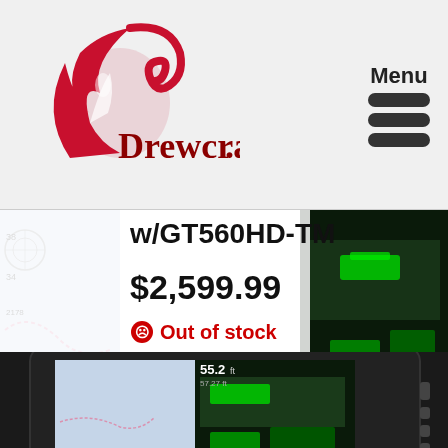[Figure (logo): Drewcraft logo with red flame/swirl design and red text 'Drewcraft']
[Figure (other): Menu icon with three horizontal bars]
w/GT560HD-TM
$2,599.99
Out of stock
Categories: Garmin, Uncategorized
[Figure (screenshot): Garmin fish finder/sonar device showing sonar reading and navigation chart on screen, GARMIN branded]
Nav Info  Home  Mark  Menu